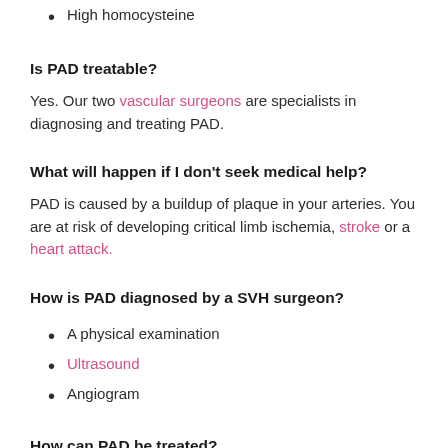High homocysteine
Is PAD treatable?
Yes. Our two vascular surgeons are specialists in diagnosing and treating PAD.
What will happen if I don't seek medical help?
PAD is caused by a buildup of plaque in your arteries. You are at risk of developing critical limb ischemia, stroke or a heart attack.
How is PAD diagnosed by a SVH surgeon?
A physical examination
Ultrasound
Angiogram
How can PAD be treated?
Lifestyle changes
Medication
Angioplasty
Surgery